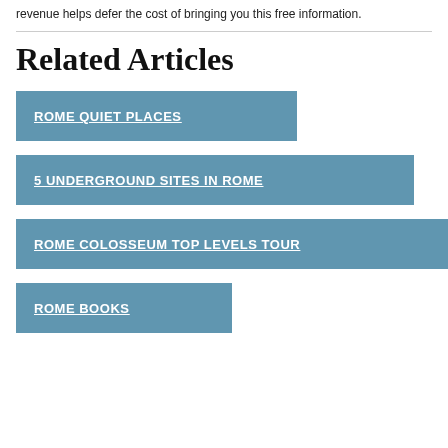revenue helps defer the cost of bringing you this free information.
Related Articles
ROME QUIET PLACES
5 UNDERGROUND SITES IN ROME
ROME COLOSSEUM TOP LEVELS TOUR
ROME BOOKS